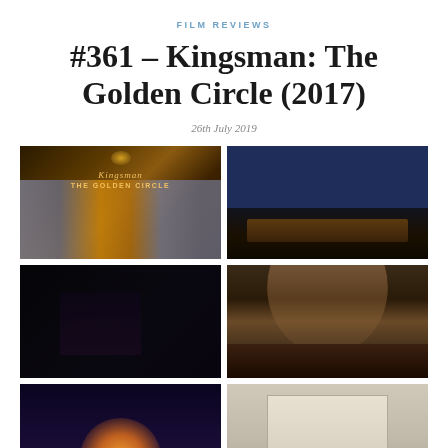FILM REVIEWS
#361 – Kingsman: The Golden Circle (2017)
26th July 2019
[Figure (photo): Kingsman: The Golden Circle title card showing suits on display with golden text logo]
[Figure (photo): Dinner scene with characters in formal wear seated at a candlelit table against dark blue walls]
[Figure (photo): Dark scene with a figure in a shadowy, dimly lit environment]
[Figure (photo): Wine cellar corridor with arched brick ceiling, two characters facing each other]
[Figure (photo): Colorful scene partially visible, warm orange/yellow glow in dark setting]
[Figure (photo): Interior scene partially visible, light-toned room or display case]